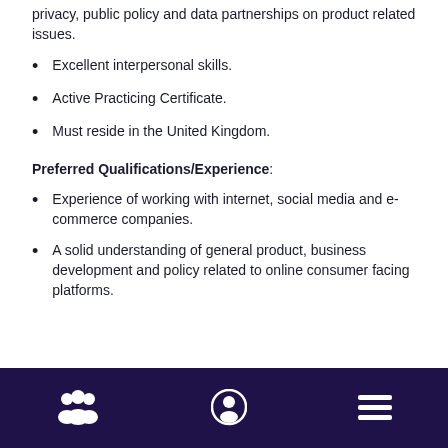privacy, public policy and data partnerships on product related issues.
Excellent interpersonal skills.
Active Practicing Certificate.
Must reside in the United Kingdom.
Preferred Qualifications/Experience:
Experience of working with internet, social media and e-commerce companies.
A solid understanding of general product, business development and policy related to online consumer facing platforms.
Navigation bar with icons